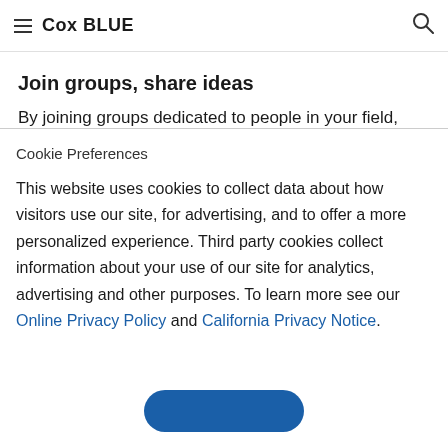Cox BLUE
Join groups, share ideas
By joining groups dedicated to people in your field,
Cookie Preferences
This website uses cookies to collect data about how visitors use our site, for advertising, and to offer a more personalized experience. Third party cookies collect information about your use of our site for analytics, advertising and other purposes. To learn more see our Online Privacy Policy and California Privacy Notice.